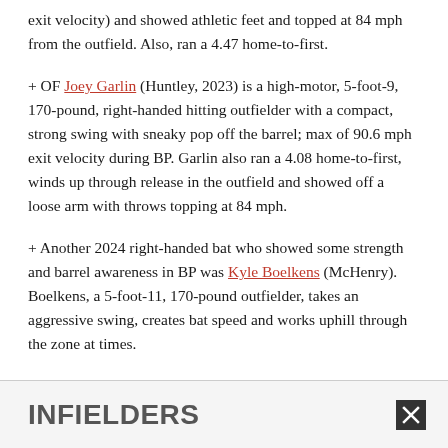exit velocity) and showed athletic feet and topped at 84 mph from the outfield. Also, ran a 4.47 home-to-first.
+ OF Joey Garlin (Huntley, 2023) is a high-motor, 5-foot-9, 170-pound, right-handed hitting outfielder with a compact, strong swing with sneaky pop off the barrel; max of 90.6 mph exit velocity during BP. Garlin also ran a 4.08 home-to-first, winds up through release in the outfield and showed off a loose arm with throws topping at 84 mph.
+ Another 2024 right-handed bat who showed some strength and barrel awareness in BP was Kyle Boelkens (McHenry). Boelkens, a 5-foot-11, 170-pound outfielder, takes an aggressive swing, creates bat speed and works uphill through the zone at times.
INFIELDERS